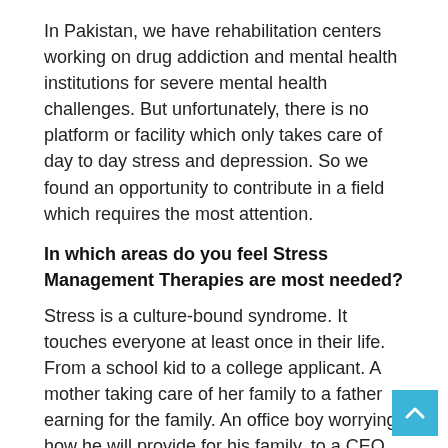In Pakistan, we have rehabilitation centers working on drug addiction and mental health institutions for severe mental health challenges. But unfortunately, there is no platform or facility which only takes care of day to day stress and depression. So we found an opportunity to contribute in a field which requires the most attention.
In which areas do you feel Stress Management Therapies are most needed?
Stress is a culture-bound syndrome. It touches everyone at least once in their life. From a school kid to a college applicant. A mother taking care of her family to a father earning for the family. An office boy worrying how he will provide for his family, to a CEO thinking how to grow his ecosystem.